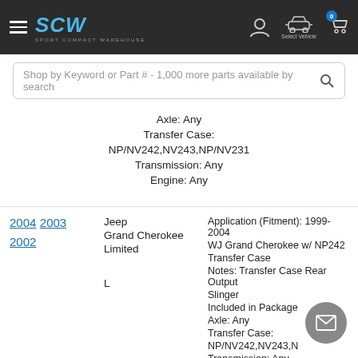SCW Sport Compact Warehouse header with navigation icons and cart
Shop by Keyword or Part # - 1,000 more parts available by search
Axle: Any
Transfer Case: NP/NV242,NV243,NP/NV231
Transmission: Any
Engine: Any
2004 2003 2002 | Jeep Grand Cherokee Limited | L | Application (Fitment): 1999-2004 WJ Grand Cherokee w/ NP242 Transfer Case | Notes: Transfer Case Rear Output Slinger Included in Package | Axle: Any | Transfer Case: NP/NV242,NV243,N... | Transmission: Any | Engine: Any